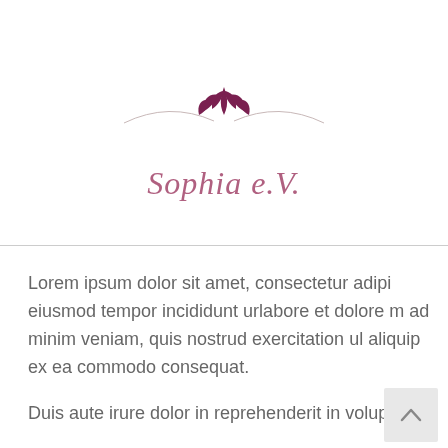[Figure (logo): Sophia e.V. logo with a stylized lotus/tulip flower in dark purple above curved lines, and the text 'Sophia e.V.' in italic rose/mauve script below]
Lorem ipsum dolor sit amet, consectetur adipi eiusmod tempor incididunt urlabore et dolore m ad minim veniam, quis nostrud exercitation ul aliquip ex ea commodo consequat.
Duis aute irure dolor in reprehenderit in volupta